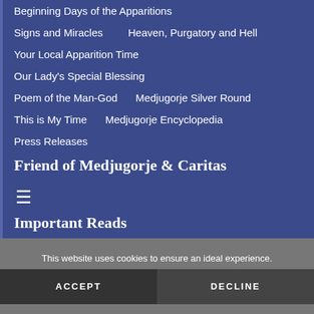Beginning Days of the Apparitions
Signs and Miracles
Heaven, Purgatory and Hell
Your Local Apparition Time
Our Lady's Special Blessing
Poem of the Man-God
Medjugorje Silver Round
This is My Time
Medjugorje Encyclopedia
Press Releases
Friend of Medjugorje & Caritas
Important Reads
The Corona Vision
This website uses cookies to ensure an ideal experience.
ACCEPT
DECLINE